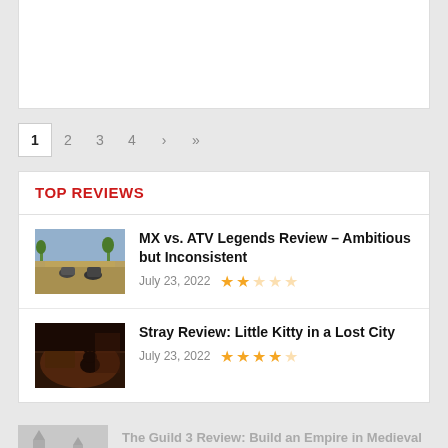[Figure (other): White content card area at top of page]
1  2  3  4  ›  »
TOP REVIEWS
[Figure (photo): MX vs. ATV Legends game screenshot showing dirt bikes in desert landscape]
MX vs. ATV Legends Review – Ambitious but Inconsistent
July 23, 2022  ★★☆☆☆
[Figure (photo): Stray game screenshot showing a cat in a dimly lit room]
Stray Review: Little Kitty in a Lost City
July 23, 2022  ★★★★☆
[Figure (photo): The Guild 3 game screenshot, greyed out]
The Guild 3 Review: Build an Empire in Medieval Times